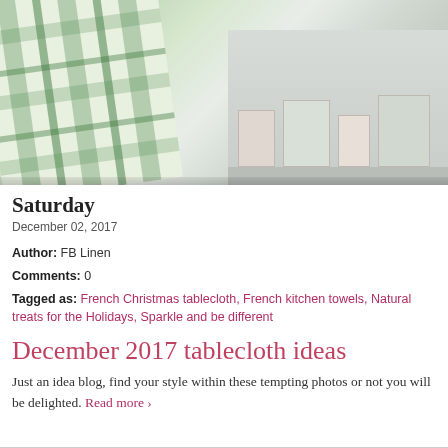[Figure (photo): Photo of a green plaid/checkered French kitchen towel in the foreground with shelving/display area in the background showing various items.]
Saturday
December 02, 2017
Author: FB Linen
Comments: 0
Tagged as: French Christmas tablecloth, French kitchen towels, Natural treats for the Holidays, Sparkle and be different
December 2017 tablecloth ideas
Just an idea blog, find your style within these tempting photos or not you will be delighted. Read more ›